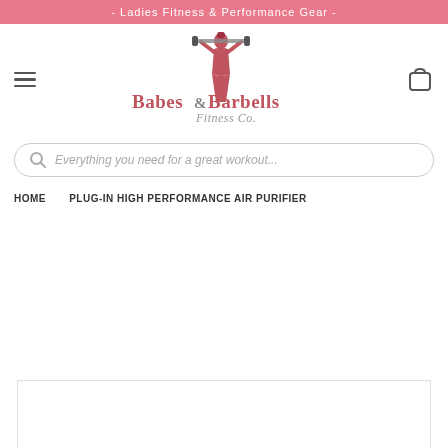- Ladies Fitness & Performance Gear -
[Figure (logo): Babes & Barbells Fitness Co. logo with female figure lifting barbells]
Everything you need for a great workout...
HOME  PLUG-IN HIGH PERFORMANCE AIR PURIFIER
[Figure (photo): Product image area (partially visible at bottom)]